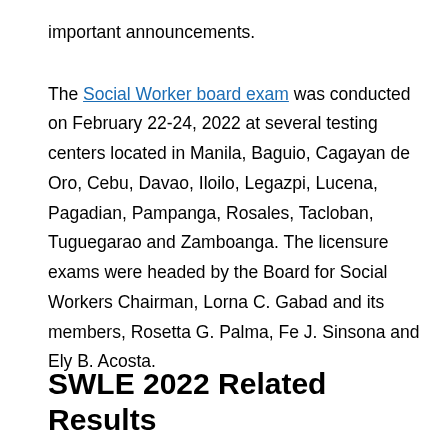important announcements.
The Social Worker board exam was conducted on February 22-24, 2022 at several testing centers located in Manila, Baguio, Cagayan de Oro, Cebu, Davao, Iloilo, Legazpi, Lucena, Pagadian, Pampanga, Rosales, Tacloban, Tuguegarao and Zamboanga. The licensure exams were headed by the Board for Social Workers Chairman, Lorna C. Gabad and its members, Rosetta G. Palma, Fe J. Sinsona and Ely B. Acosta.
SWLE 2022 Related Results